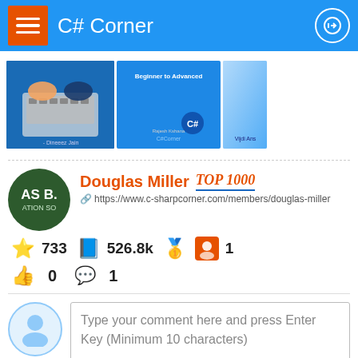C# Corner
[Figure (screenshot): Book covers strip showing programming books]
Douglas Miller TOP 1000
https://www.c-sharpcorner.com/members/douglas-miller
733 526.8k 1
0  1
Type your comment here and press Enter Key (Minimum 10 characters)
I am revamping this article with more relevant sou... C# variable names so it will be easier for readers t...